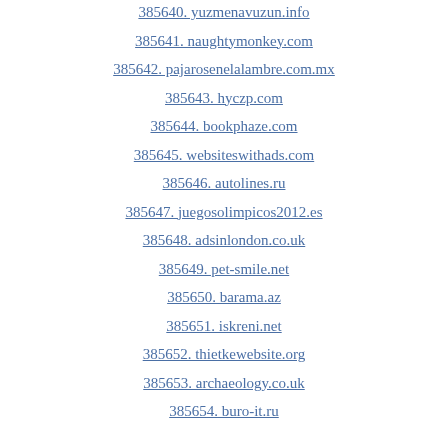385640. yuzmenavuzun.info
385641. naughtymonkey.com
385642. pajarosenelalambre.com.mx
385643. hyczp.com
385644. bookphaze.com
385645. websiteswithads.com
385646. autolines.ru
385647. juegosolimpicos2012.es
385648. adsinlondon.co.uk
385649. pet-smile.net
385650. barama.az
385651. iskreni.net
385652. thietkewebsite.org
385653. archaeology.co.uk
385654. buro-it.ru